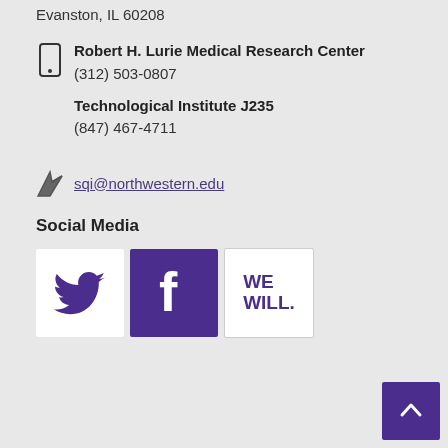Evanston, IL 60208
Robert H. Lurie Medical Research Center
(312) 503-0807
Technological Institute J235
(847) 467-4711
sqi@northwestern.edu
Social Media
[Figure (logo): Social media icons: Twitter (white bird on white background), Facebook (white F on purple background), Northwestern WE WILL logo]